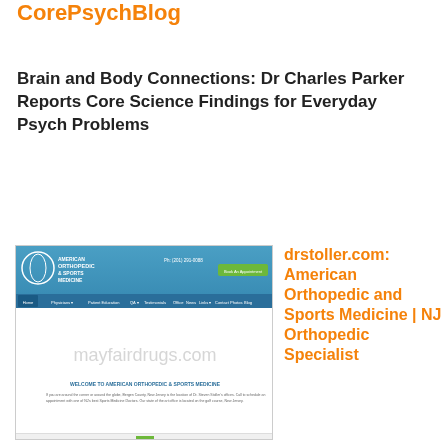CorePsychBlog
Brain and Body Connections: Dr Charles Parker Reports Core Science Findings for Everyday Psych Problems
[Figure (screenshot): Screenshot of drstoller.com website showing American Orthopedic & Sports Medicine header with navigation bar and welcome text. A watermark reading 'mayfairdrugs.com' is overlaid on the content area.]
drstoller.com: American Orthopedic and Sports Medicine | NJ Orthopedic Specialist